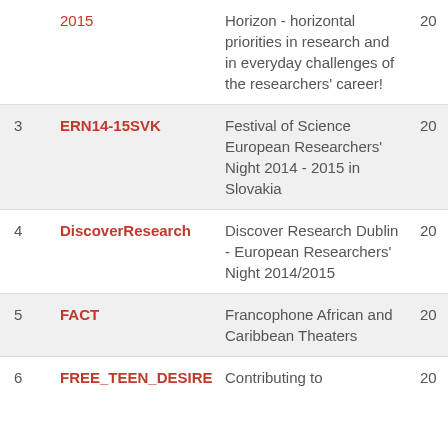| # | Acronym | Title | Year |
| --- | --- | --- | --- |
|  | 2015 | Horizon - horizontal priorities in research and in everyday challenges of the researchers' career! | 20... |
| 3 | ERN14-15SVK | Festival of Science European Researchers' Night 2014 - 2015 in Slovakia | 20... |
| 4 | DiscoverResearch | Discover Research Dublin - European Researchers' Night 2014/2015 | 20... |
| 5 | FACT | Francophone African and Caribbean Theaters | 20... |
| 6 | FREE_TEEN_DESIRE | Contributing to | 20... |